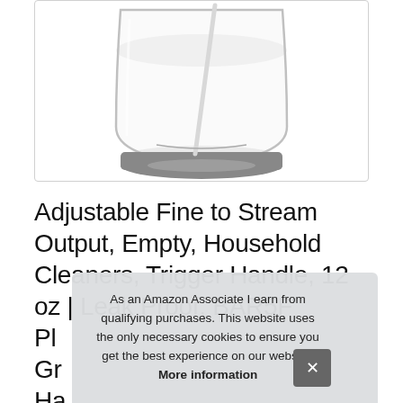[Figure (photo): Product image of a clear spray bottle with a dark gray base, shown from below/side angle, inside a white bordered container]
Adjustable Fine to Stream Output, Empty, Household Cleaners, Trigger Handle, 12 oz | Leak Proof, BAR5F Pl... Gr... Ha...
As an Amazon Associate I earn from qualifying purchases. This website uses the only necessary cookies to ensure you get the best experience on our website. More information